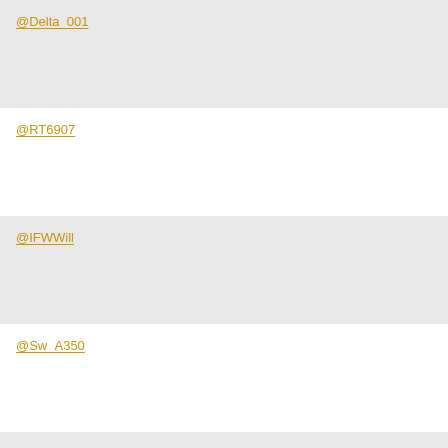@Delta_001
@RT6907
@IFWWill
@Sw_A350